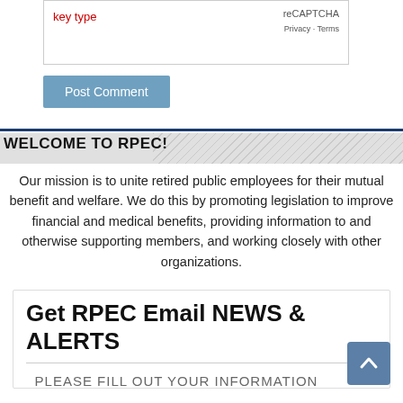key type
reCAPTCHA Privacy · Terms
Post Comment
WELCOME TO RPEC!
Our mission is to unite retired public employees for their mutual benefit and welfare. We do this by promoting legislation to improve financial and medical benefits, providing information to and otherwise supporting members, and working closely with other organizations.
Get RPEC Email NEWS & ALERTS
PLEASE FILL OUT YOUR INFORMATION